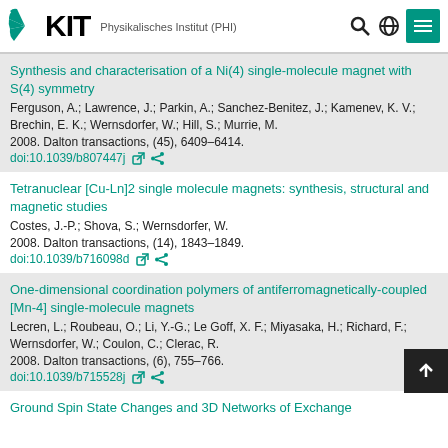KIT – Physikalisches Institut (PHI)
Synthesis and characterisation of a Ni(4) single-molecule magnet with S(4) symmetry
Ferguson, A.; Lawrence, J.; Parkin, A.; Sanchez-Benitez, J.; Kamenev, K. V.; Brechin, E. K.; Wernsdorfer, W.; Hill, S.; Murrie, M.
2008. Dalton transactions, (45), 6409–6414.
doi:10.1039/b807447j
Tetranuclear [Cu-Ln]2 single molecule magnets: synthesis, structural and magnetic studies
Costes, J.-P.; Shova, S.; Wernsdorfer, W.
2008. Dalton transactions, (14), 1843–1849.
doi:10.1039/b716098d
One-dimensional coordination polymers of antiferromagnetically-coupled [Mn-4] single-molecule magnets
Lecren, L.; Roubeau, O.; Li, Y.-G.; Le Goff, X. F.; Miyasaka, H.; Richard, F.; Wernsdorfer, W.; Coulon, C.; Clerac, R.
2008. Dalton transactions, (6), 755–766.
doi:10.1039/b715528j
Ground Spin State Changes and 3D Networks of Exchange